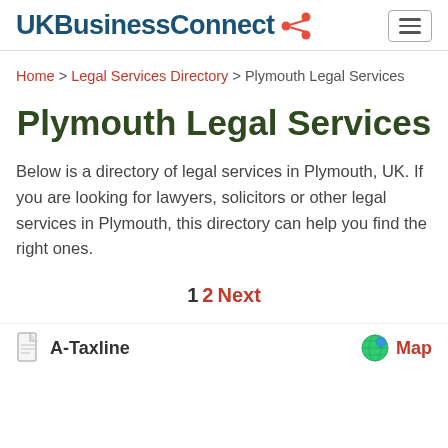UKBusinessConnect
Home > Legal Services Directory > Plymouth Legal Services
Plymouth Legal Services
Below is a directory of legal services in Plymouth, UK. If you are looking for lawyers, solicitors or other legal services in Plymouth, this directory can help you find the right ones.
1 2 Next
A-Taxline   Map